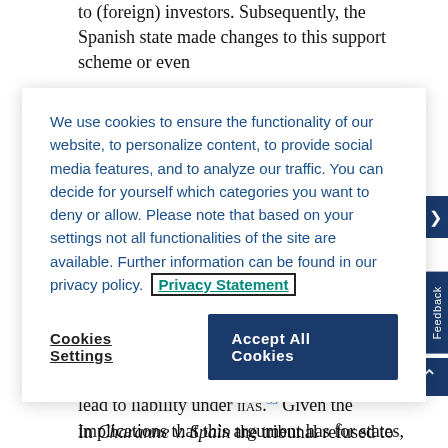to (foreign) investors. Subsequently, the Spanish state made changes to this support scheme or even
We use cookies to ensure the functionality of our website, to personalize content, to provide social media features, and to analyze our traffic. You can decide for yourself which categories you want to deny or allow. Please note that based on your settings not all functionalities of the site are available. Further information can be found in our privacy policy. Privacy Statement
change that would make the legal environment less appealing to investors could potentially lead to liability under IIAs.53 Given the implications that this argument has for states, the ECT tribunals in the Charanne v. Spain, Antin v. Spain and Eiser v. Spain cases all rejected this argument.
In Charanne v. Spain the tribunal refused to